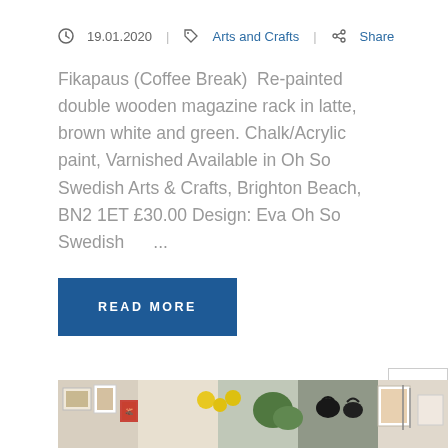19.01.2020 | Arts and Crafts | Share
Fikapaus (Coffee Break)  Re-painted double wooden magazine rack in latte, brown white and green. Chalk/Acrylic paint, Varnished Available in Oh So Swedish Arts & Crafts, Brighton Beach, BN2 1ET £30.00 Design: Eva Oh So Swedish    ...
READ MORE
[Figure (photo): Photo strip showing a shelf display with various crafts and decorative items including artwork, figurines, and decorations]